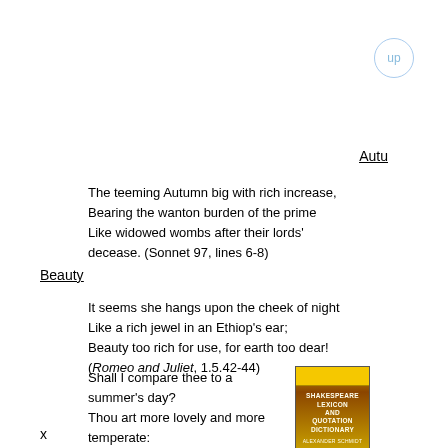up
Autu
The teeming Autumn big with rich increase,
Bearing the wanton burden of the prime
Like widowed wombs after their lords'
decease. (Sonnet 97, lines 6-8)
Beauty
It seems she hangs upon the cheek of night
Like a rich jewel in an Ethiop's ear;
Beauty too rich for use, for earth too dear!
(Romeo and Juliet, 1.5.42-44)
Shall I compare thee to a summer's day?
Thou art more lovely and more temperate:
[Figure (photo): Book cover of Shakespeare Lexicon and Quotation Dictionary]
x